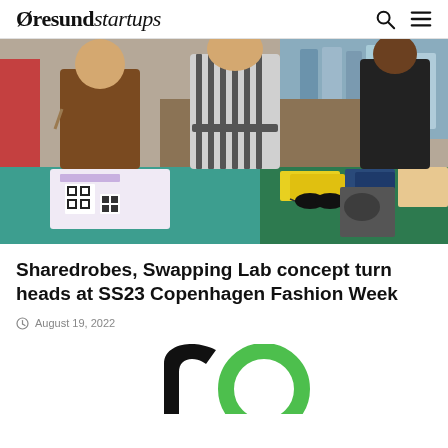Øresundstartups
[Figure (photo): Photo of people standing behind a table with clothing and merchandise at a fashion event, with a QR code flyer visible on the table.]
Sharedrobes, Swapping Lab concept turn heads at SS23 Copenhagen Fashion Week
August 19, 2022
[Figure (logo): Partial view of a circular logo in black and green at the bottom of the page.]